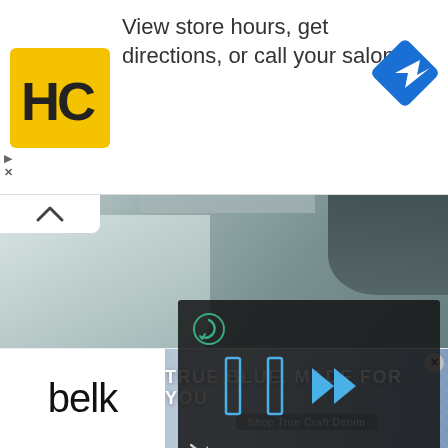[Figure (screenshot): Top advertisement banner with HC (Hair Club) logo in yellow square, text 'View store hours, get directions, or call your salon!', and a blue Google Maps navigation diamond icon on the right. Small play and close (X) controls at bottom left.]
[Figure (screenshot): Main content area showing a salon/medical background image with a woman lying back and a person attending to her. A dark semi-transparent video overlay panel is visible in the center-right with a circular refresh icon, blue pause/play bar controls, and a mute icon. A white collapse chevron button appears at top-left.]
[Figure (screenshot): Bottom advertisement banner for Belk with 'belk' logo on white left side and a denim-themed banner on the right reading 'TRUE BLUE. MADE FOR YOU' with subtext 'Shop True Craft Denim'. A small X close button appears at top right of the banner.]